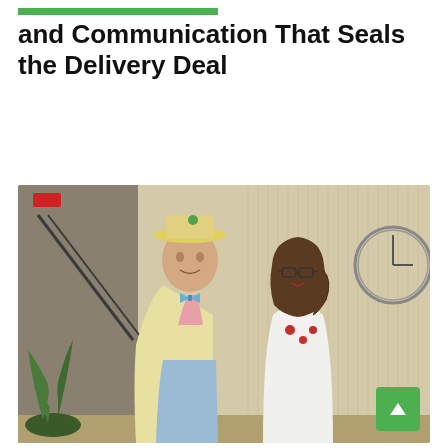and Communication That Seals the Delivery Deal
[Figure (photo): Two people posing indoors. A tall man wearing a yellow hat with a frog pin, a light yellow blazer, a blue bow tie, and light blue checkered pants. A woman beside him wearing glasses, a floral blouse with red roses, and a white cardigan. Background shows a staircase, striped wallpaper, and a decorative clock on the wall. A green plant is visible in the lower left.]